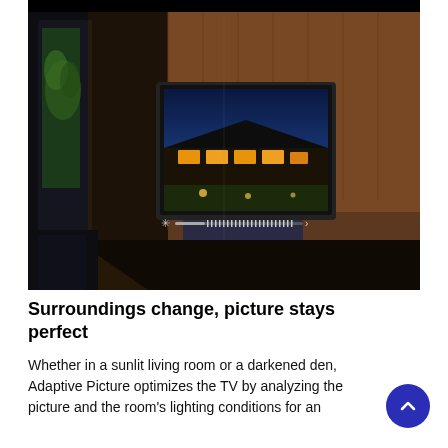[Figure (photo): A split-scene photograph showing a TV displaying a nighttime house exterior lit with warm lights, placed in a dark indoor room setting with wooden floors and a glass door showing greenery outside. A brightness slider is visible below the TV screen. The left half of the room appears darker while the right half appears warmer/lighter, demonstrating adaptive picture technology.]
Surroundings change, picture stays perfect
Whether in a sunlit living room or a darkened den, Adaptive Picture optimizes the TV by analyzing the picture and the room's lighting conditions for an